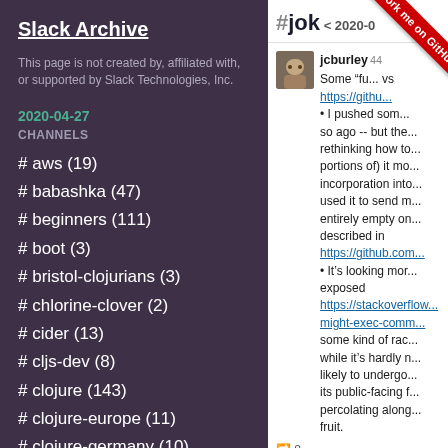Slack Archive
This page is not created by, affiliated with, or supported by Slack Technologies, Inc.
2020-04-27
CHANNELS
# aws (19)
# babashka (47)
# beginners (111)
# boot (3)
# bristol-clojurians (3)
# chlorine-clover (2)
# cider (13)
# cljs-dev (8)
# clojure (143)
# clojure-europe (11)
# clojure-germany (10)
#joke < 2020-0
jcburley 44
Some "fu... vs
https://githu...
• I pushed som... so ago -- but the... rethinking how to... portions of) it mo... incorporation into... used it to send m... entirely empty on... described in
https://github.com...
• It's looking mor... exposed
https://stackoverflow...
might-exec-comm...
some kind of rac... while it's hardly n... likely to undergo... its public-facing f... percolating along... fruit.
🔁 8